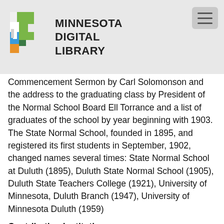[Figure (logo): Minnesota Digital Library logo with colorful Minnesota state shape icon and bold text reading MINNESOTA DIGITAL LIBRARY]
Commencement Sermon by Carl Solomonson and the address to the graduating class by President of the Normal School Board Ell Torrance and a list of graduates of the school by year beginning with 1903. The State Normal School, founded in 1895, and registered its first students in September, 1902, changed names several times: State Normal School at Duluth (1895), Duluth State Normal School (1905), Duluth State Teachers College (1921), University of Minnesota, Duluth Branch (1947), University of Minnesota Duluth (1959)
Contributing Institution:
University of Minnesota Duluth Kathryn A. Martin Library, University Archives
Type:
Text